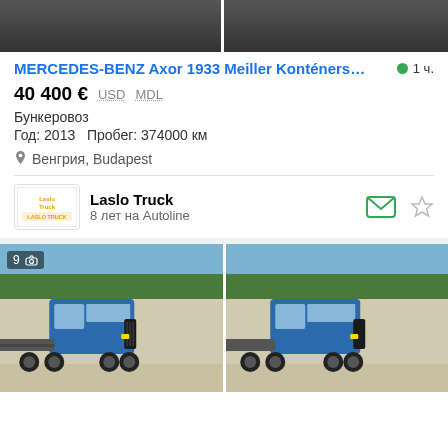[Figure (photo): Two partial truck images at top, cropped]
MERCEDES-BENZ Axor 1933 Meiller Konténers…
● 1 ч.
40 400 € USD MDL
Бункеровоз
Год: 2013  Пробег: 374000 км
📍 Венгрия, Budapest
[Figure (logo): Laslo Truck dealer logo]
Laslo Truck
8 лет на Autoline
[Figure (photo): Blue Mercedes-Benz truck with flat bed, two photos side by side, photo count badge showing 9]